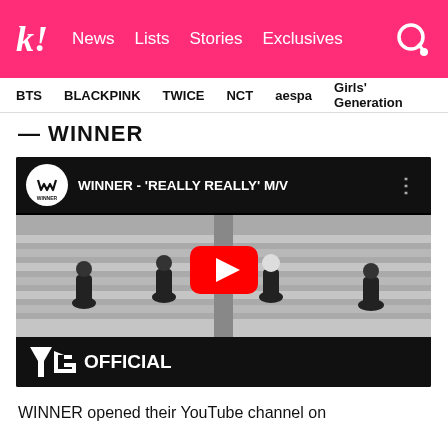k! News Lists Stories Exclusives
BTS  BLACKPINK  TWICE  NCT  aespa  Girls' Generation
WINNER
[Figure (screenshot): YouTube video embed for WINNER - 'REALLY REALLY' M/V showing four band members in black outfits sitting on stairs in a black and white scene, with YG OFFICIAL branding at the bottom]
WINNER opened their YouTube channel on